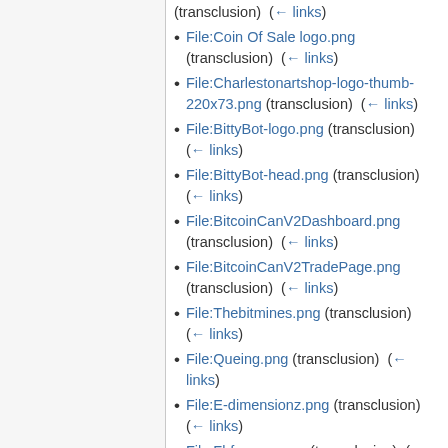(transclusion)  (← links)
File:Coin Of Sale logo.png (transclusion)  (← links)
File:Charlestonartshop-logo-thumb-220x73.png (transclusion)  (← links)
File:BittyBot-logo.png (transclusion)  (← links)
File:BittyBot-head.png (transclusion)  (← links)
File:BitcoinCanV2Dashboard.png (transclusion)  (← links)
File:BitcoinCanV2TradePage.png (transclusion)  (← links)
File:Thebitmines.png (transclusion)  (← links)
File:Queing.png (transclusion)  (← links)
File:E-dimensionz.png (transclusion)  (← links)
File:Fbfscreen.png (transclusion)  (←